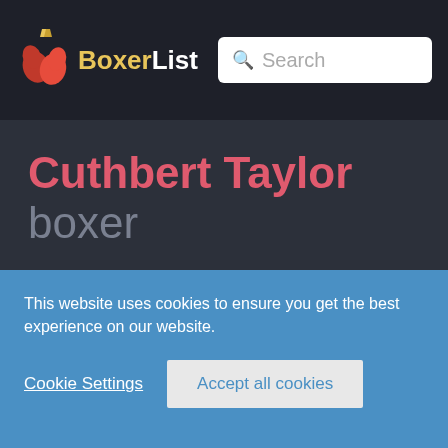BoxerList
Cuthbert Taylor boxer
This website uses cookies to ensure you get the best experience on our website.
Cookie Settings
Accept all cookies